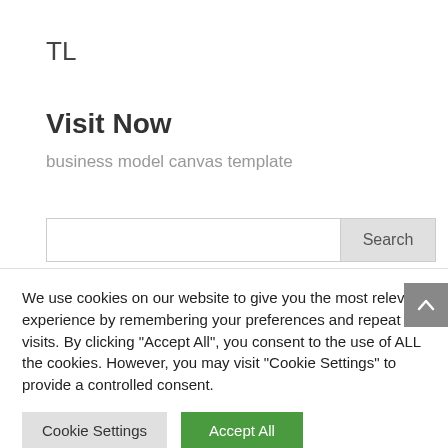TL
Visit Now
business model canvas template
[Figure (screenshot): Search bar with text input and a grey Search button]
We use cookies on our website to give you the most relevant experience by remembering your preferences and repeat visits. By clicking “Accept All”, you consent to the use of ALL the cookies. However, you may visit "Cookie Settings" to provide a controlled consent.
Cookie Settings
Accept All